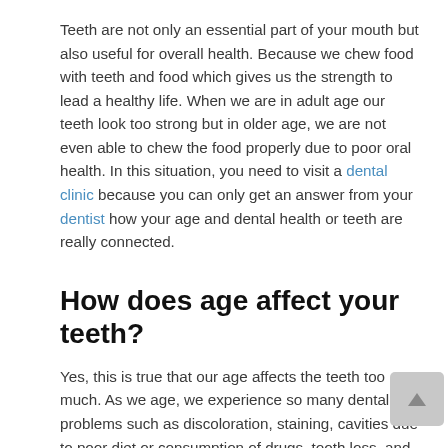Teeth are not only an essential part of your mouth but also useful for overall health. Because we chew food with teeth and food which gives us the strength to lead a healthy life. When we are in adult age our teeth look too strong but in older age, we are not even able to chew the food properly due to poor oral health. In this situation, you need to visit a dental clinic because you can only get an answer from your dentist how your age and dental health or teeth are really connected.
How does age affect your teeth?
Yes, this is true that our age affects the teeth too much. As we age, we experience so many dental problems such as discoloration, staining, cavities due to poor diet or consumption of drugs, tooth loss, and gum problems. Not only these problems, we additionally experience some other problems in old age include sagging of lips, an improper bite, night grinding, teeth clenching, and